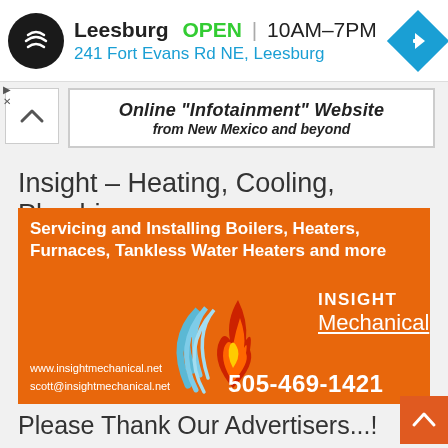[Figure (screenshot): Top ad bar: Leesburg store listing showing a black circular logo with double arrows, text 'Leesburg OPEN | 10AM-7PM' and '241 Fort Evans Rd NE, Leesburg', with a blue navigation diamond icon on the right, and small play/close icons on the left side]
[Figure (screenshot): Chevron up button in white box on left, and website banner on right reading 'Online Infotainment Website from New Mexico and beyond' in italic bold text]
Insight – Heating, Cooling, Plumbing
[Figure (illustration): Orange advertisement banner for Insight Mechanical. Text reads: 'Servicing and Installing Boilers, Heaters, Furnaces, Tankless Water Heaters and more'. Features flame logo with blue swoosh and red/orange flame. Brand name 'INSIGHT Mechanical' in white. Website: www.insightmechanical.net, email: scott@insightmechanical.net, phone: 505-469-1421]
Please Thank Our Advertisers...!